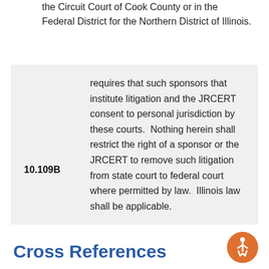the Circuit Court of Cook County or in the Federal District for the Northern District of Illinois.
10.109B   requires that such sponsors that institute litigation and the JRCERT consent to personal jurisdiction by these courts.  Nothing herein shall restrict the right of a sponsor or the JRCERT to remove such litigation from state court to federal court where permitted by law.  Illinois law shall be applicable.
Cross References
[Figure (illustration): Accessibility icon: orange circle with a white stylized person figure (wheelchair accessibility symbol)]